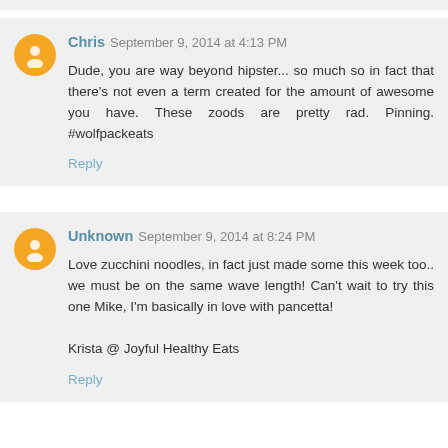Chris September 9, 2014 at 4:13 PM
Dude, you are way beyond hipster... so much so in fact that there's not even a term created for the amount of awesome you have. These zoods are pretty rad. Pinning. #wolfpackeats
Reply
Unknown September 9, 2014 at 8:24 PM
Love zucchini noodles, in fact just made some this week too.. we must be on the same wave length! Can't wait to try this one Mike, I'm basically in love with pancetta!

Krista @ Joyful Healthy Eats
Reply